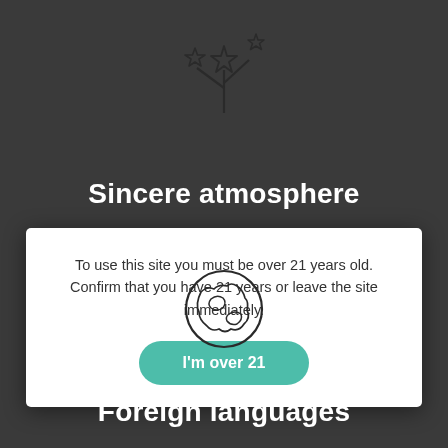[Figure (illustration): Fireworks/sparkles icon made of stars and lines, dark outline on dark grey background]
Sincere atmosphere
To use this site you must be over 21 years old. Confirm that you have 21 years or leave the site immediately.
I'm over 21
[Figure (illustration): Globe/earth icon with outline style showing landmasses]
Foreign languages